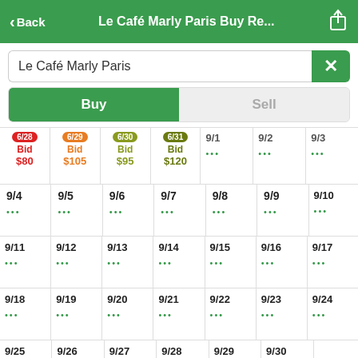< Back   Le Café Marly Paris Buy Re...
Le Café Marly Paris
Buy | Sell
| Col1 | Col2 | Col3 | Col4 | Col5 | Col6 | Col7 |
| --- | --- | --- | --- | --- | --- | --- |
| 6/28 Bid $80 | 6/29 Bid $105 | 6/30 Bid $95 | 6/31 Bid $120 | 9/1 ... | 9/2 ... | 9/3 ... |
| 9/4 ... | 9/5 ... | 9/6 ... | 9/7 ... | 9/8 ... | 9/9 ... | 9/10 ... |
| 9/11 ... | 9/12 ... | 9/13 ... | 9/14 ... | 9/15 ... | 9/16 ... | 9/17 ... |
| 9/18 ... | 9/19 ... | 9/20 ... | 9/21 ... | 9/22 ... | 9/23 ... | 9/24 ... |
| 9/25 ... | 9/26 ... | 9/27 ... | 9/28 ... | 9/29 ... | 9/30 ... |  |